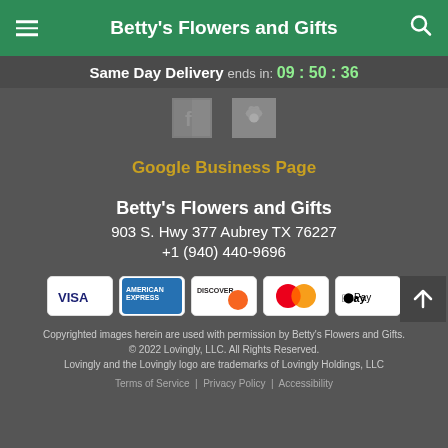Betty's Flowers and Gifts
Same Day Delivery ends in: 09 : 50 : 36
[Figure (logo): Facebook and Yelp social media icons]
Google Business Page
Betty's Flowers and Gifts
903 S. Hwy 377 Aubrey TX 76227
+1 (940) 440-9696
[Figure (other): Payment method logos: VISA, American Express, Discover, Mastercard, Apple Pay]
Copyrighted images herein are used with permission by Betty's Flowers and Gifts.
© 2022 Lovingly, LLC. All Rights Reserved.
Lovingly and the Lovingly logo are trademarks of Lovingly Holdings, LLC
Terms of Service | Privacy Policy | Accessibility